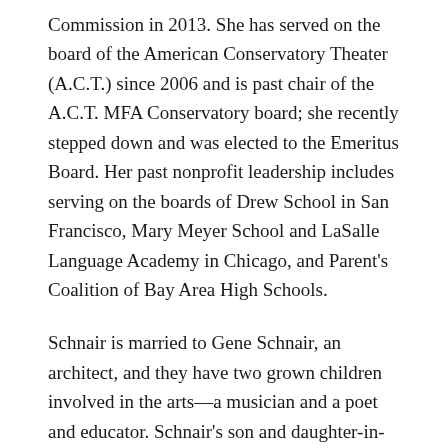Commission in 2013. She has served on the board of the American Conservatory Theater (A.C.T.) since 2006 and is past chair of the A.C.T. MFA Conservatory board; she recently stepped down and was elected to the Emeritus Board. Her past nonprofit leadership includes serving on the boards of Drew School in San Francisco, Mary Meyer School and LaSalle Language Academy in Chicago, and Parent's Coalition of Bay Area High Schools.
Schnair is married to Gene Schnair, an architect, and they have two grown children involved in the arts—a musician and a poet and educator. Schnair's son and daughter-in-law are alumni of graduate programs at CCA.